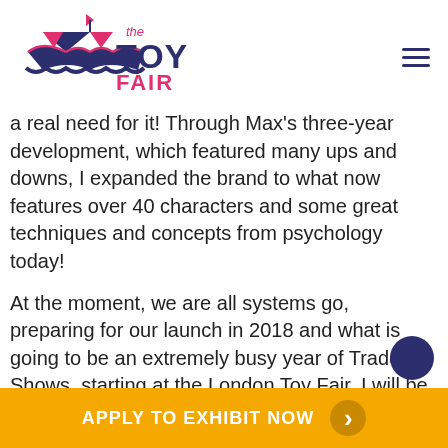[Figure (logo): The Toy Fair logo with circus tent icon in dark purple/navy and 'TOY' in dark purple bold and 'FAIR' in pink bold text, with 'the' in pink above]
a real need for it! Through Max's three-year development, which featured many ups and downs, I expanded the brand to what now features over 40 characters and some great techniques and concepts from psychology today!
At the moment, we are all systems go, preparing for our launch in 2018 and what is going to be an extremely busy year of Trade Shows, starting at the London Toy Fair. I will be bringing along Max Junior who is for the under six-year-old users and Max Senior for the over 6's, who both have a very traditional 'teddy' look and feel. Both bears play four built-in guided meditations and even breathe along. This has been designed to enable the user to really engage with the medi... their book series will also be... series, he comes to life and s...
APPLY TO EXHIBIT NOW